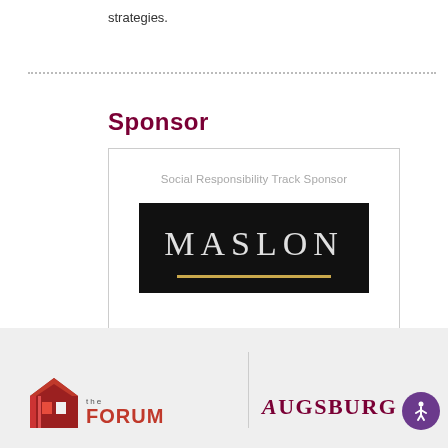strategies.
Sponsor
[Figure (logo): Maslon law firm logo — black rectangle with silver and white text reading MASLON and a gold underline]
[Figure (logo): The Forum on Workplace Inclusion logo — house icon in red/orange and dark red with 'the FORUM' text]
[Figure (logo): Augsburg University logo — text reading AUGSBURG in dark red serif font]
[Figure (logo): Accessibility icon — person in circle, purple background]